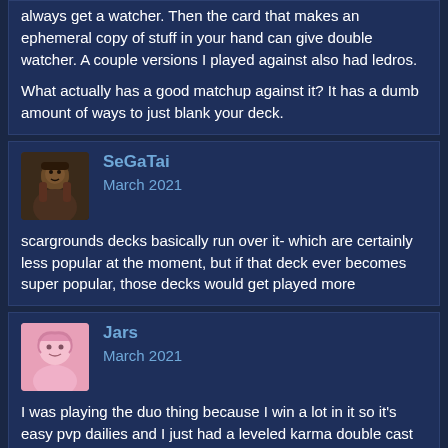always get a watcher. Then the card that makes an ephemeral copy of stuff in your hand can give double watcher. A couple versions I played against also had ledros.

What actually has a good matchup against it? It has a dumb amount of ways to just blank your deck.
SeGaTai
March 2021

scargrounds decks basically run over it- which are certainly less popular at the moment, but if that deck ever becomes super popular, those decks would get played more
Jars
March 2021

I was playing the duo thing because I win a lot in it so it's easy pvp dailies and I just had a leveled karma double cast boomerang blade